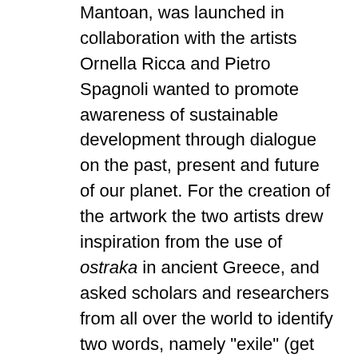Mantoan, was launched in collaboration with the artists Ornella Ricca and Pietro Spagnoli wanted to promote awareness of sustainable development through dialogue on the past, present and future of our planet. For the creation of the artwork the two artists drew inspiration from the use of ostraka in ancient Greece, and asked scholars and researchers from all over the world to identify two words, namely "exile" (get rid of) and 'welcome' (to support) with reference to the wellbeing of Planet Earth. The students too, led by the curator and the project team, engaged in some practical activities around these issues in the university spaces such as study rooms and cafes, encouraging critical thought among Academia and the Venetian community.